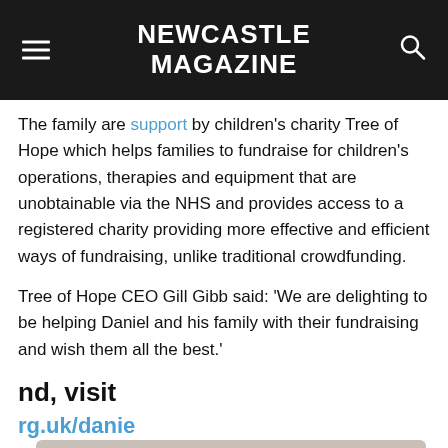NEWCASTLE MAGAZINE
The family are support by children's charity Tree of Hope which helps families to fundraise for children's operations, therapies and equipment that are unobtainable via the NHS and provides access to a registered charity providing more effective and efficient ways of fundraising, unlike traditional crowdfunding.
Tree of Hope CEO Gill Gibb said: 'We are delighting to be helping Daniel and his family with their fundraising and wish them all the best.'
nd, visit
rg.uk/danie
rutherford/
Cookies - To make this site work properly, we sometimes place small data files called cookies on your device. Most websites do this too.